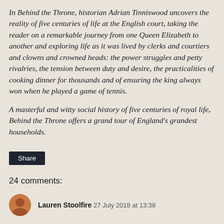In Behind the Throne, historian Adrian Tinniswood uncovers the reality of five centuries of life at the English court, taking the reader on a remarkable journey from one Queen Elizabeth to another and exploring life as it was lived by clerks and courtiers and clowns and crowned heads: the power struggles and petty rivalries, the tension between duty and desire, the practicalities of cooking dinner for thousands and of ensuring the king always won when he played a game of tennis.
A masterful and witty social history of five centuries of royal life, Behind the Throne offers a grand tour of England's grandest households.
Share
24 comments:
Lauren Stoolfire  27 July 2018 at 13:38